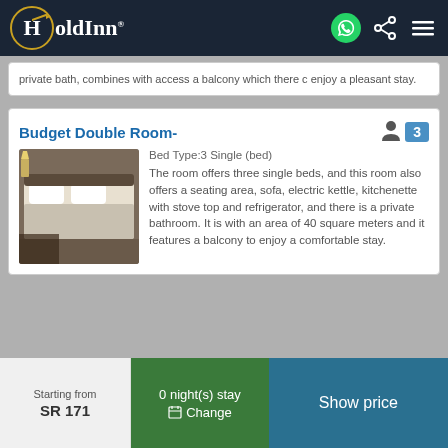HoldInn
private bath, combines with access a balcony which there c enjoy a pleasant stay.
Budget Double Room-
Bed Type:3 Single (bed)
The room offers three single beds, and this room also offers a seating area, sofa, electric kettle, kitchenette with stove top and refrigerator, and there is a private bathroom. It is with an area of 40 square meters and it features a balcony to enjoy a comfortable stay.
Starting from
SR 171
0 night(s) stay
Change
Show price